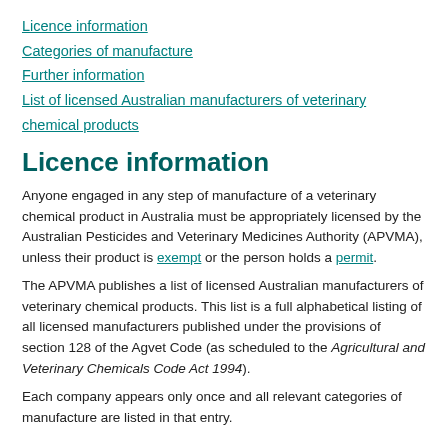Licence information
Categories of manufacture
Further information
List of licensed Australian manufacturers of veterinary chemical products
Licence information
Anyone engaged in any step of manufacture of a veterinary chemical product in Australia must be appropriately licensed by the Australian Pesticides and Veterinary Medicines Authority (APVMA), unless their product is exempt or the person holds a permit.
The APVMA publishes a list of licensed Australian manufacturers of veterinary chemical products. This list is a full alphabetical listing of all licensed manufacturers published under the provisions of section 128 of the Agvet Code (as scheduled to the Agricultural and Veterinary Chemicals Code Act 1994).
Each company appears only once and all relevant categories of manufacture are listed in that entry.